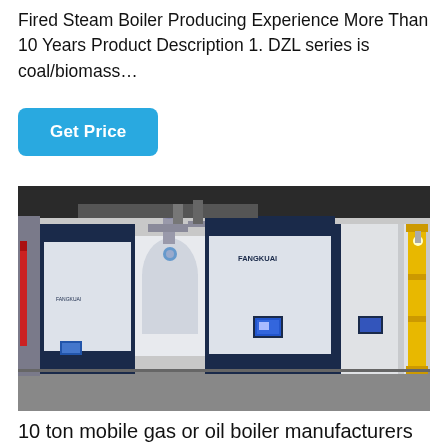Fired Steam Boiler Producing Experience More Than 10 Years Product Description 1. DZL series is coal/biomass…
[Figure (photo): Industrial boiler room showing multiple large dark navy blue and white Fangkuai brand steam boilers installed side by side in a facility, with pipes and structural elements visible.]
10 ton mobile gas or oil boiler manufacturers